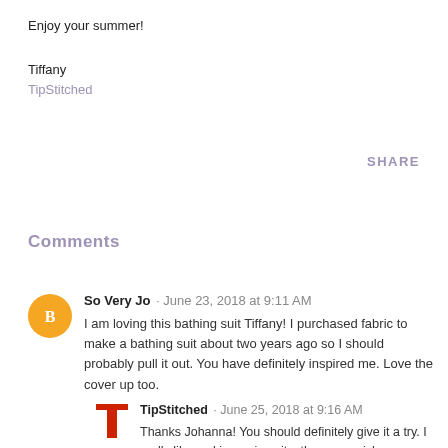Enjoy your summer!
Tiffany
TipStitched
SHARE
Comments
So Very Jo · June 23, 2018 at 9:11 AM
I am loving this bathing suit Tiffany! I purchased fabric to make a bathing suit about two years ago so I should probably pull it out. You have definitely inspired me. Love the cover up too.
TipStitched · June 25, 2018 at 9:16 AM
Thanks Johanna! You should definitely give it a try. I really like making swimsuits, they are quick sews.